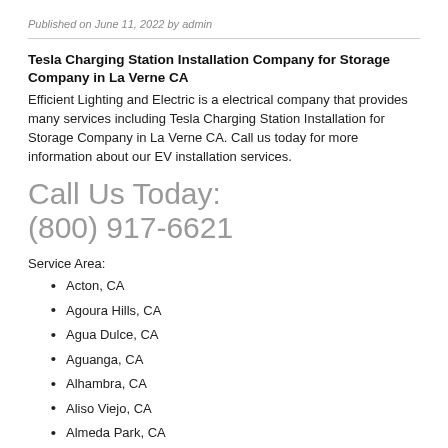Published on June 11, 2022 by admin
Tesla Charging Station Installation Company for Storage Company in La Verne CA
Efficient Lighting and Electric is a electrical company that provides many services including Tesla Charging Station Installation for Storage Company in La Verne CA. Call us today for more information about our EV installation services.
Call Us Today:
(800) 917-6621
Service Area:
Acton, CA
Agoura Hills, CA
Agua Dulce, CA
Aguanga, CA
Alhambra, CA
Aliso Viejo, CA
Almeda Park, CA